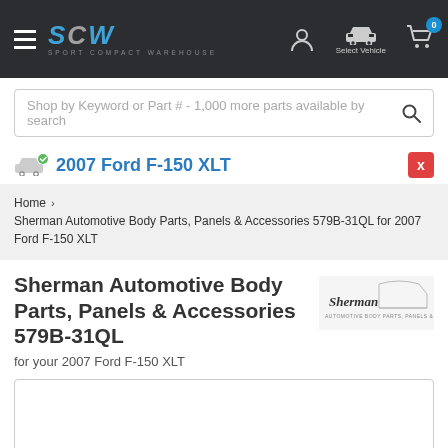SCW Sport Compact Warehouse — navigation header with hamburger menu, user icon, vehicle selector, and cart (0 items)
Shop by Keyword or Part # - 1,000 more parts available by search
2007 Ford F-150 XLT
Home > Sherman Automotive Body Parts, Panels & Accessories 579B-31QL for 2007 Ford F-150 XLT
Sherman Automotive Body Parts, Panels & Accessories 579B-31QL
for your 2007 Ford F-150 XLT
[Figure (other): White product image area (empty/loading)]